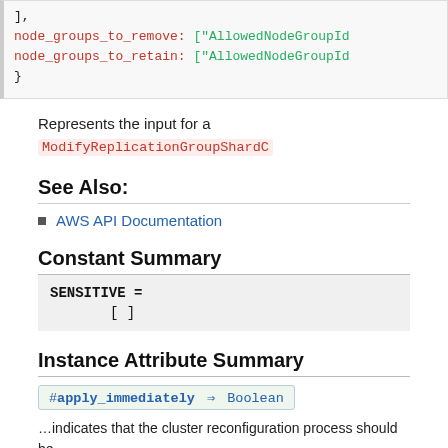[Figure (screenshot): Code block showing Ruby/YAML syntax with node_groups_to_remove and node_groups_to_retain fields in red, values starting with ["AllowedNodeGroupId in green, closing brace]
Represents the input for a ModifyReplicationGroupShardC…
See Also:
AWS API Documentation
Constant Summary
SENSITIVE =
  []
Instance Attribute Summary
#apply_immediately ⇒ Boolean
…indicates that the cluster reconfiguration process should be…